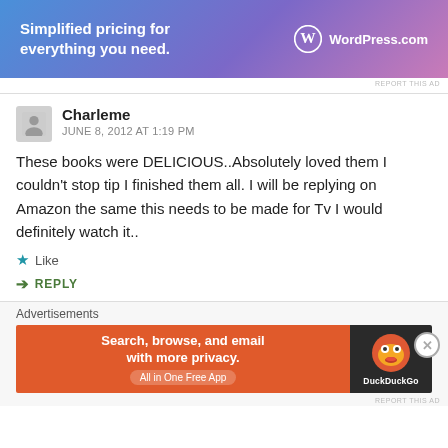[Figure (other): WordPress.com advertisement banner: 'Simplified pricing for everything you need.' with WordPress logo]
REPORT THIS AD
Charleme
JUNE 8, 2012 AT 1:19 PM
These books were DELICIOUS..Absolutely loved them I couldn't stop tip I finished them all. I will be replying on Amazon the same this needs to be made for Tv I would definitely watch it..
Like
REPLY
Advertisements
[Figure (other): DuckDuckGo advertisement: 'Search, browse, and email with more privacy. All in One Free App' with DuckDuckGo logo]
REPORT THIS AD